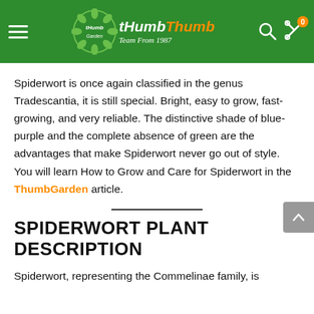ThumbGarden – Team From 1987 (website header with navigation)
Spiderwort is once again classified in the genus Tradescantia, it is still special. Bright, easy to grow, fast-growing, and very reliable. The distinctive shade of blue-purple and the complete absence of green are the advantages that make Spiderwort never go out of style. You will learn How to Grow and Care for Spiderwort in the ThumbGarden article.
SPIDERWORT PLANT DESCRIPTION
Spiderwort, representing the Commelinae family, is